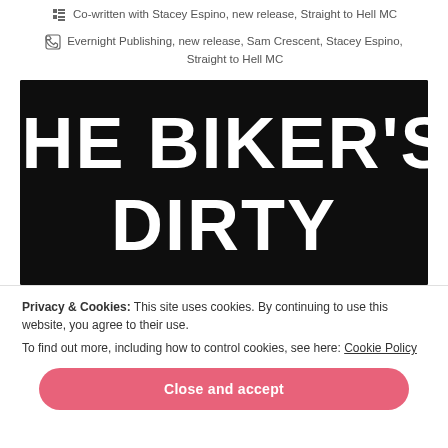Co-written with Stacey Espino, new release, Straight to Hell MC
Evernight Publishing, new release, Sam Crescent, Stacey Espino, Straight to Hell MC
[Figure (illustration): Dark textured background book cover image showing the text THE BIKER'S DIRTY in large white bold uppercase letters]
Privacy & Cookies: This site uses cookies. By continuing to use this website, you agree to their use.
To find out more, including how to control cookies, see here: Cookie Policy
Close and accept